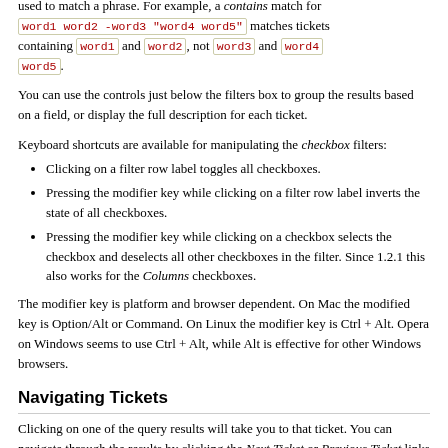used to match a phrase. For example, a contains match for word1 word2 -word3 "word4 word5" matches tickets containing word1 and word2, not word3 and word4 word5.
You can use the controls just below the filters box to group the results based on a field, or display the full description for each ticket.
Keyboard shortcuts are available for manipulating the checkbox filters:
Clicking on a filter row label toggles all checkboxes.
Pressing the modifier key while clicking on a filter row label inverts the state of all checkboxes.
Pressing the modifier key while clicking on a checkbox selects the checkbox and deselects all other checkboxes in the filter. Since 1.2.1 this also works for the Columns checkboxes.
The modifier key is platform and browser dependent. On Mac the modified key is Option/Alt or Command. On Linux the modifier key is Ctrl + Alt. Opera on Windows seems to use Ctrl + Alt, while Alt is effective for other Windows browsers.
Navigating Tickets
Clicking on one of the query results will take you to that ticket. You can navigate through the results by clicking the Next Ticket or Previous Ticket links just below the main menu bar, or click the